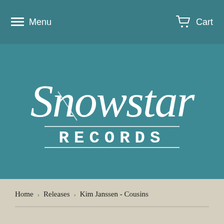Menu   Cart
[Figure (logo): Snowstar Records logo in white script and serif text on teal background]
Home › Releases › Kim Janssen - Cousins